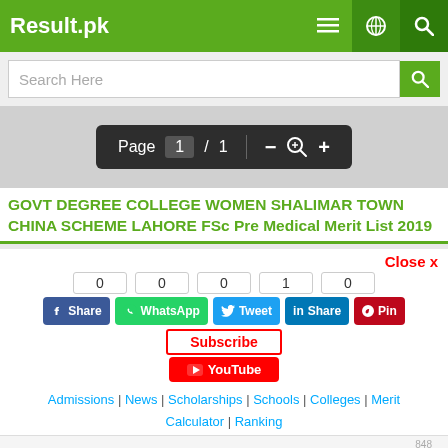Result.pk
[Figure (screenshot): Search bar with green search button]
[Figure (screenshot): PDF viewer toolbar showing Page 1 / 1 with zoom controls]
GOVT DEGREE COLLEGE WOMEN SHALIMAR TOWN CHINA SCHEME LAHORE FSc Pre Medical Merit List 2019
[Figure (screenshot): Social media share buttons: Facebook Share (0), WhatsApp (0), Tweet (0), LinkedIn Share (1), Pinterest Pin (0), Subscribe and YouTube buttons]
Admissions | News | Scholarships | Schools | Colleges | Merit Calculator | Ranking